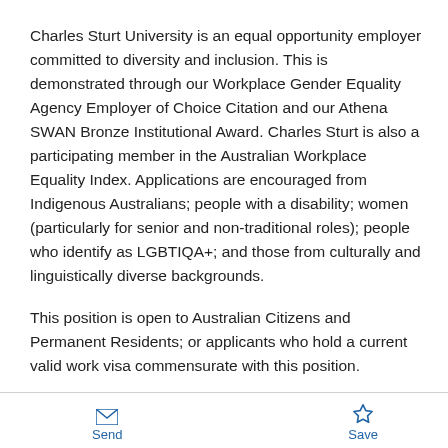Charles Sturt University is an equal opportunity employer committed to diversity and inclusion. This is demonstrated through our Workplace Gender Equality Agency Employer of Choice Citation and our Athena SWAN Bronze Institutional Award. Charles Sturt is also a participating member in the Australian Workplace Equality Index. Applications are encouraged from Indigenous Australians; people with a disability; women (particularly for senior and non-traditional roles); people who identify as LGBTIQA+; and those from culturally and linguistically diverse backgrounds.
This position is open to Australian Citizens and Permanent Residents; or applicants who hold a current valid work visa commensurate with this position.
Send   Save